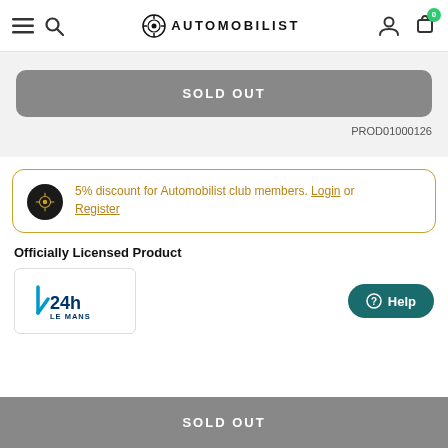AUTOMOBILIST
SOLD OUT
PROD01000126
5% discount for Automobilist club members. Login or Register
Officially Licensed Product
[Figure (logo): 24h Le Mans officially licensed product logo]
Help
SOLD OUT